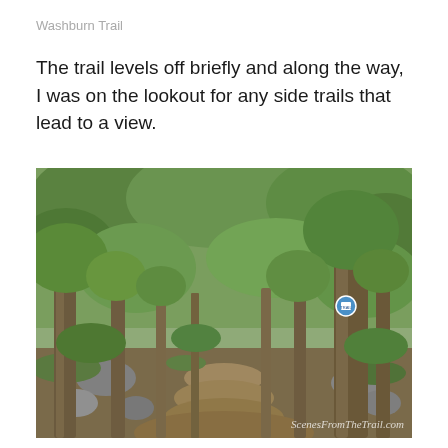Washburn Trail
The trail levels off briefly and along the way, I was on the lookout for any side trails that lead to a view.
[Figure (photo): A forest trail winding through deciduous trees with green foliage, rocks on the ground, and a blue trail marker sign on a tree trunk to the right. Watermark reads ScenesFromTheTrail.com.]